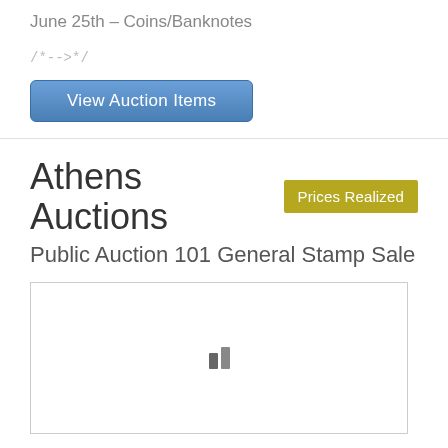June 25th – Coins/Banknotes
/*-->*/
View Auction Items
Athens Auctions
Prices Realized
Public Auction 101 General Stamp Sale
[Figure (other): Loading image placeholder with two vertical bars icon]